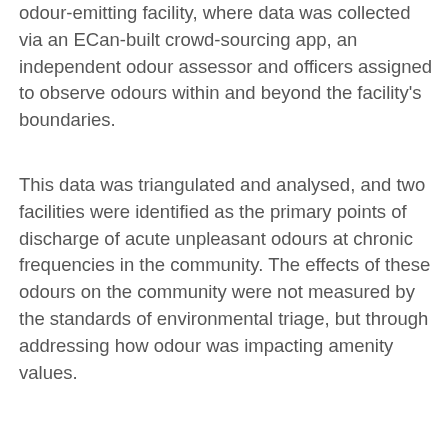odour-emitting facility, where data was collected via an ECan-built crowd-sourcing app, an independent odour assessor and officers assigned to observe odours within and beyond the facility's boundaries.
This data was triangulated and analysed, and two facilities were identified as the primary points of discharge of acute unpleasant odours at chronic frequencies in the community. The effects of these odours on the community were not measured by the standards of environmental triage, but through addressing how odour was impacting amenity values.
This pilot taught us that immediate response may be fundamental for odour substantiation due to the